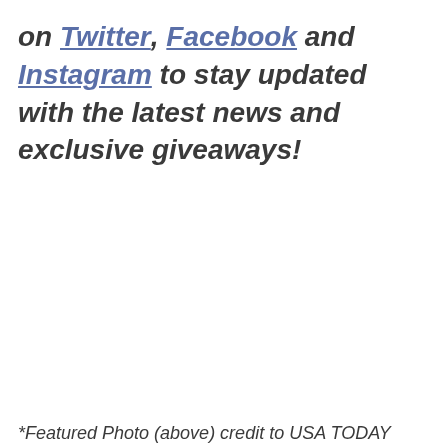on Twitter, Facebook and Instagram to stay updated with the latest news and exclusive giveaways!
*Featured Photo (above) credit to USA TODAY